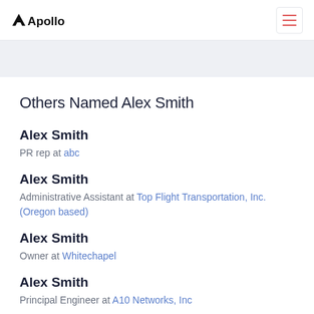Apollo
Others Named Alex Smith
Alex Smith
PR rep at abc
Alex Smith
Administrative Assistant at Top Flight Transportation, Inc. (Oregon based)
Alex Smith
Owner at Whitechapel
Alex Smith
Principal Engineer at A10 Networks, Inc